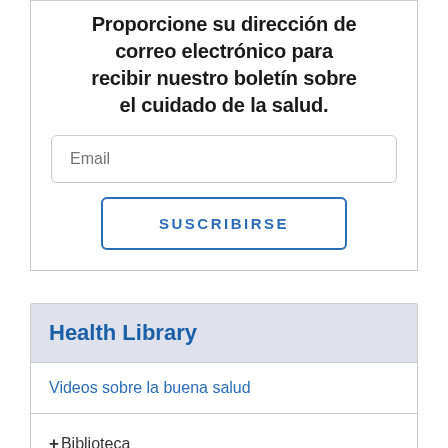Proporcione su dirección de correo electrónico para recibir nuestro boletín sobre el cuidado de la salud.
Email
SUSCRIBIRSE
Health Library
Videos sobre la buena salud
+Biblioteca
+Centros de salud